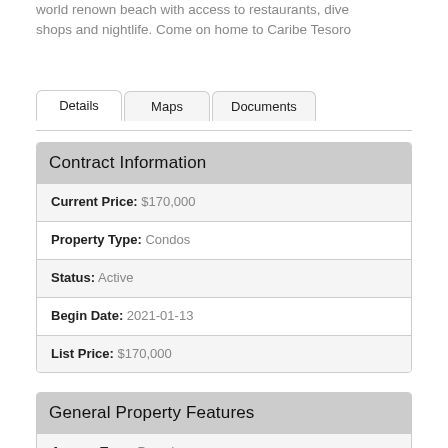world renown beach with access to restaurants, dive shops and nightlife. Come on home to Caribe Tesoro
Contract Information
| Field | Value |
| --- | --- |
| Current Price: | $170,000 |
| Property Type: | Condos |
| Status: | Active |
| Begin Date: | 2021-01-13 |
| List Price: | $170,000 |
General Property Features
| Field | Value |
| --- | --- |
| Access Type: | Paved |